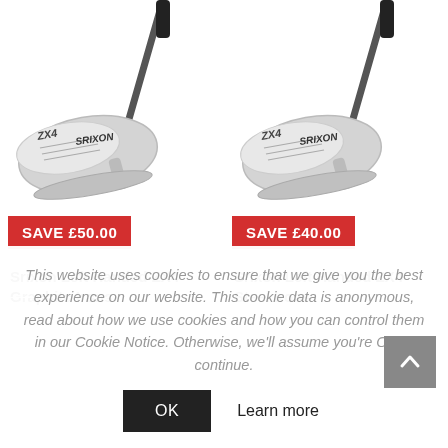[Figure (photo): Srixon ZX4 left-handed golf iron, graphite, silver finish with black grip, shown from angle]
SAVE £50.00
Srixon Left Handed ZX4 Graphite Irons
[Figure (photo): Srixon ZX4 left-handed golf iron, steel, silver finish with black grip, shown from angle]
SAVE £40.00
Srixon Left Handed ZX4 Steel Irons
This website uses cookies to ensure that we give you the best experience on our website. This cookie data is anonymous, read about how we use cookies and how you can control them in our Cookie Notice. Otherwise, we'll assume you're OK to continue.
OK
Learn more